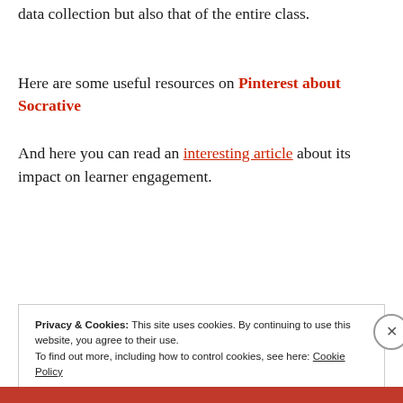data collection but also that of the entire class.
Here are some useful resources on Pinterest about Socrative
And here you can read an interesting article about its impact on learner engagement.
Privacy & Cookies: This site uses cookies. By continuing to use this website, you agree to their use. To find out more, including how to control cookies, see here: Cookie Policy
Close and accept